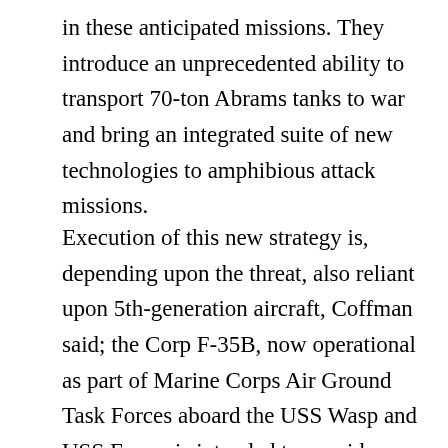in these anticipated missions. They introduce an unprecedented ability to transport 70-ton Abrams tanks to war and bring an integrated suite of new technologies to amphibious attack missions.
Execution of this new strategy is, depending upon the threat, also reliant upon 5th-generation aircraft, Coffman said; the Corp F-35B, now operational as part of Marine Corps Air Ground Task Forces aboard the USS Wasp and USS Essex, is intended to provide close-air support to advancing attacks, use its sensors to perform forward reconnaissance and launch strikes itself. The success of an amphibious attack needs, or even requires, air supremacy. Extending this